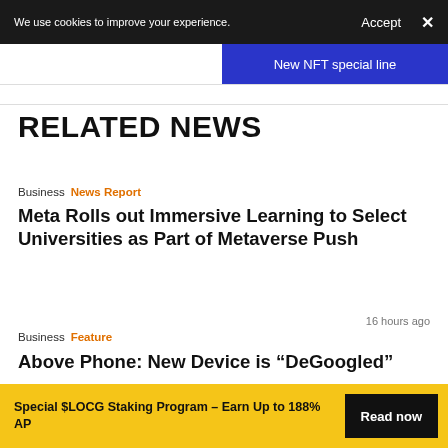We use cookies to improve your experience.  Accept  ×
New NFT special line
RELATED NEWS
Business  News Report
Meta Rolls out Immersive Learning to Select Universities as Part of Metaverse Push
Business  Feature  16 hours ago
Above Phone: New Device is "DeGoogled"
Special $LOCG Staking Program – Earn Up to 188% AP  Read now